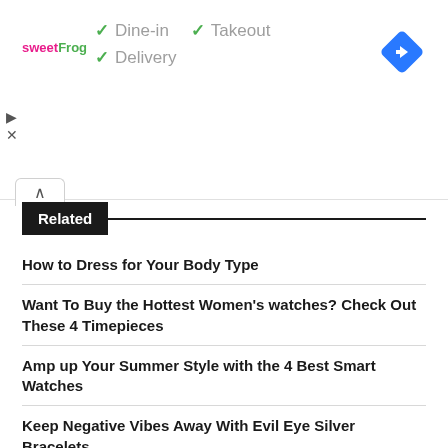[Figure (screenshot): sweetFrog logo with Dine-in, Takeout, Delivery service options with green checkmarks, and a blue navigation diamond icon]
How to Dress for Your Body Type
Want To Buy the Hottest Women's watches? Check Out These 4 Timepieces
Amp up Your Summer Style with the 4 Best Smart Watches
Keep Negative Vibes Away With Evil Eye Silver Bracelets